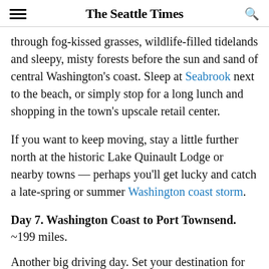The Seattle Times
through fog-kissed grasses, wildlife-filled tidelands and sleepy, misty forests before the sun and sand of central Washington's coast. Sleep at Seabrook next to the beach, or simply stop for a long lunch and shopping in the town's upscale retail center.
If you want to keep moving, stay a little further north at the historic Lake Quinault Lodge or nearby towns — perhaps you'll get lucky and catch a late-spring or summer Washington coast storm.
Day 7. Washington Coast to Port Townsend. ~199 miles.
Another big driving day. Set your destination for Port Townsend and head North along US-101 to explore the Olympic Peninsula. Popular stop options